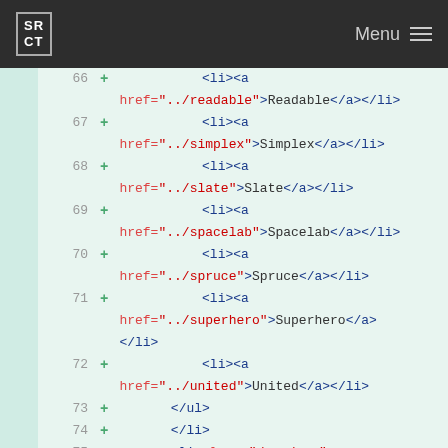SRCT Menu
66 + <li><a href="../readable">Readable</a></li>
67 + <li><a href="../simplex">Simplex</a></li>
68 + <li><a href="../slate">Slate</a></li>
69 + <li><a href="../spacelab">Spacelab</a></li>
70 + <li><a href="../spruce">Spruce</a></li>
71 + <li><a href="../superhero">Superhero</a></li>
72 + <li><a href="../united">United</a></li>
73 + </ul>
74 + </li>
75 + <li class="dropdown" id="preview-menu">
76 + <a class="dropdown-toggle" data-toggle="dropdown"